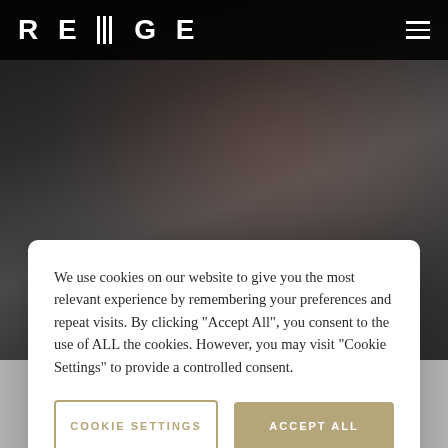[Figure (screenshot): Dark background image of a desk scene with red object visible, shown behind the cookie consent dialog and header]
REUGE [hamburger menu icon]
We use cookies on our website to give you the most relevant experience by remembering your preferences and repeat visits. By clicking "Accept All", you consent to the use of ALL the cookies. However, you may visit "Cookie Settings" to provide a controlled consent.
COOKIE SETTINGS
ACCEPT ALL